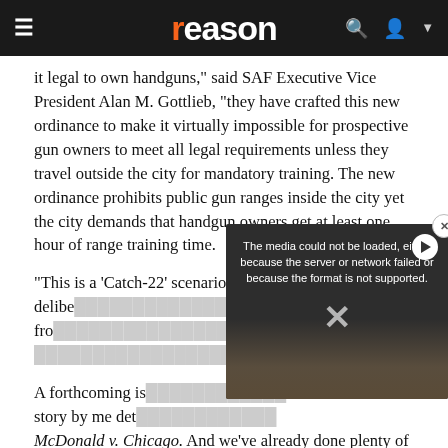reason
it legal to own handguns," said SAF Executive Vice President Alan M. Gottlieb, "they have crafted this new ordinance to make it virtually impossible for prospective gun owners to meet all legal requirements unless they travel outside the city for mandatory training. The new ordinance prohibits public gun ranges inside the city yet the city demands that handgun owners get at least one hour of range training time.
"This is a 'Catch-22' scenario," he continued, "that seems deliberately designed to prevent Chicago residents from... two months... Supreme Cou...
[Figure (screenshot): Video overlay showing error message: 'The media could not be loaded, either because the server or network failed or because the format is not supported.' with close button and play button.]
A forthcoming is... story by me det... McDonald v. Chicago. And we've already done plenty of